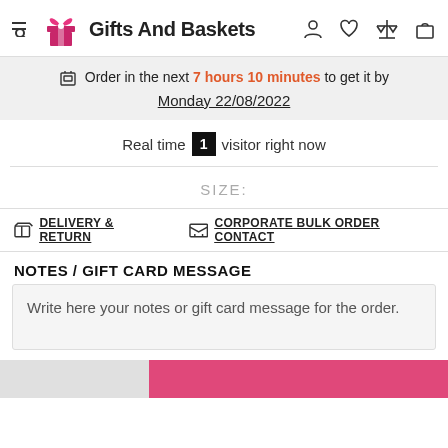Gifts And Baskets — navigation header with logo and icons
Order in the next 7 hours 10 minutes to get it by Monday 22/08/2022
Real time 1 visitor right now
SIZE:
DELIVERY & RETURN   CORPORATE BULK ORDER CONTACT
NOTES / GIFT CARD MESSAGE
Write here your notes or gift card message for the order.